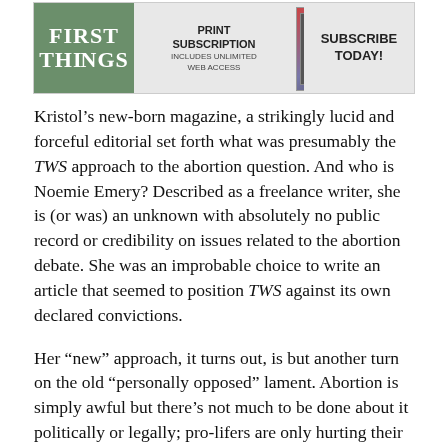[Figure (other): First Things magazine advertisement banner. Left section: green background with 'FIRST THINGS' text in white. Middle section: 'PRINT SUBSCRIPTION INCLUDES UNLIMITED WEB ACCESS'. Right section: 'SUBSCRIBE TODAY!' with image of magazine covers.]
Kristol’s new-born magazine, a strikingly lucid and forceful editorial set forth what was presumably the TWS approach to the abortion question. And who is Noemie Emery? Described as a freelance writer, she is (or was) an unknown with absolutely no public record or credibility on issues related to the abortion debate. She was an improbable choice to write an article that seemed to position TWS against its own declared convictions.
Her “new” approach, it turns out, is but another turn on the old “personally opposed” lament. Abortion is simply awful but there’s not much to be done about it politically or legally; pro-lifers are only hurting their cause by being perceived as extremists and should